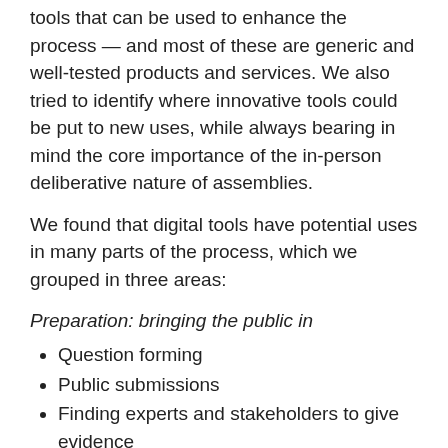tools that can be used to enhance the process — and most of these are generic and well-tested products and services. We also tried to identify where innovative tools could be put to new uses, while always bearing in mind the core importance of the in-person deliberative nature of assemblies.
We found that digital tools have potential uses in many parts of the process, which we grouped in three areas:
Preparation: bringing the public in
Question forming
Public submissions
Finding experts and stakeholders to give evidence
Internal: facilitating assemblies
Attendance management